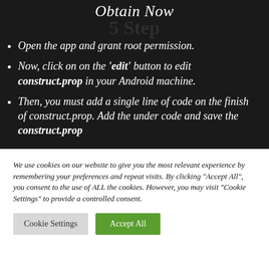Obtain Now
Open the app and grant root permission.
Now, click on on the 'edit' button to edit construct.prop in your Android machine.
Then, you must add a single line of code on the finish of construct.prop. Add the under code and save the construct.prop
We use cookies on our website to give you the most relevant experience by remembering your preferences and repeat visits. By clicking "Accept All", you consent to the use of ALL the cookies. However, you may visit "Cookie Settings" to provide a controlled consent.